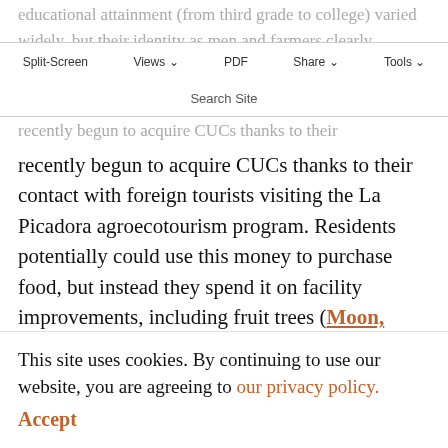educational attainment (from third grade to college) varied widely, but their identity as men and farmers clearly informed what they liked to eat. Additionally, unlike fishers in Yaguajay, they had
Split-Screen | Views | PDF | Share | Tools | Search Site
recently begun to acquire CUCs thanks to their contact with foreign tourists visiting the La Picadora agroecotourism program. Residents potentially could use this money to purchase food, but instead they spend it on facility improvements, including fruit trees (Moon, Rhode Ward, Vázquez Rodríguez, and Foyo 2021: 30). Because these farmers both grow and purchase food, they demonstrate that food producers as well as
This site uses cookies. By continuing to use our website, you are agreeing to our privacy policy. Accept